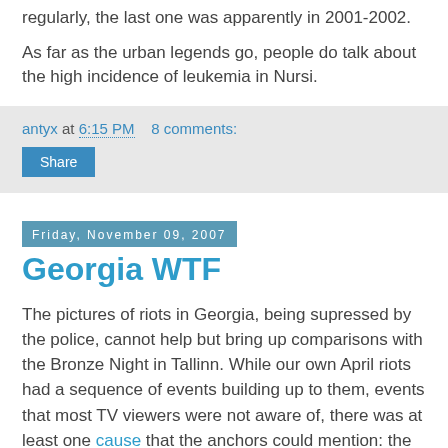regularly, the last one was apparently in 2001-2002.
As far as the urban legends go, people do talk about the high incidence of leukemia in Nursi.
antyx at 6:15 PM    8 comments:
Share
Friday, November 09, 2007
Georgia WTF
The pictures of riots in Georgia, being supressed by the police, cannot help but bring up comparisons with the Bronze Night in Tallinn. While our own April riots had a sequence of events building up to them, events that most TV viewers were not aware of, there was at least one cause that the anchors could mention: the unrest followed the relocation of a Soviet-era war memorial.
The Tbilisi riots are far more enigmatic. The official news